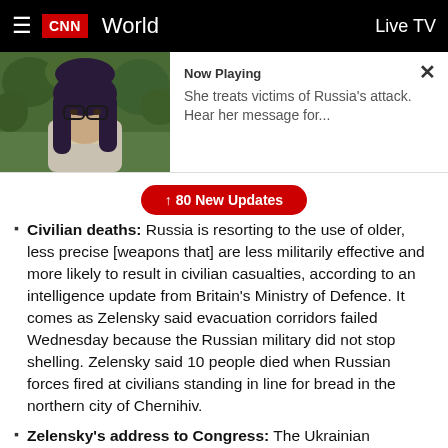CNN  World   Live TV
[Figure (screenshot): Video thumbnail showing a woman with glasses and long dark hair outdoors with trees in background. Now Playing label with text: She treats victims of Russia's attack. Hear her message for...]
Civilian deaths: Russia is resorting to the use of older, less precise [weapons that] are less militarily effective and more likely to result in civilian casualties, according to an intelligence update from Britain's Ministry of Defence. It comes as Zelensky said evacuation corridors failed Wednesday because the Russian military did not stop shelling. Zelensky said 10 people died when Russian forces fired at civilians standing in line for bread in the northern city of Chernihiv.
Zelensky's address to Congress: The Ukrainian